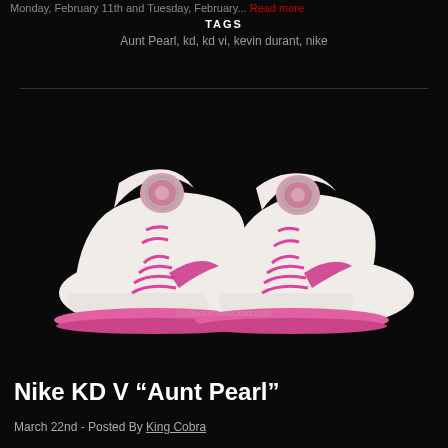Monday, February 11th and Tuesday, February... Read more
TAGS
Aunt Pearl, kd, kd vi, kevin durant, nike
[Figure (photo): Nike KD V Aunt Pearl basketball shoes, white with pink laces and pink accents, floral pattern on the heel and tongue, shown as a pair on a black background. Watermark reads footlockerunlocked.com]
Nike KD V “Aunt Pearl”
March 22nd - Posted By King Cobra